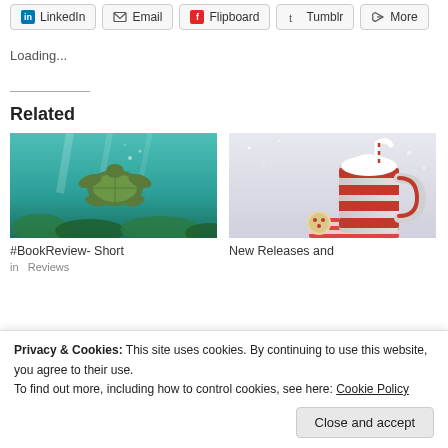LinkedIn | Email | Flipboard | Tumblr | More
Loading...
Related
[Figure (photo): Underwater photo of a sea turtle swimming over coral reef]
[Figure (photo): Red and white striped mug with candy cane, hot chocolate, cookies on snowy background]
#BookReview- Short
New Releases and
Privacy & Cookies: This site uses cookies. By continuing to use this website, you agree to their use.
To find out more, including how to control cookies, see here: Cookie Policy
Close and accept
in   Reviews